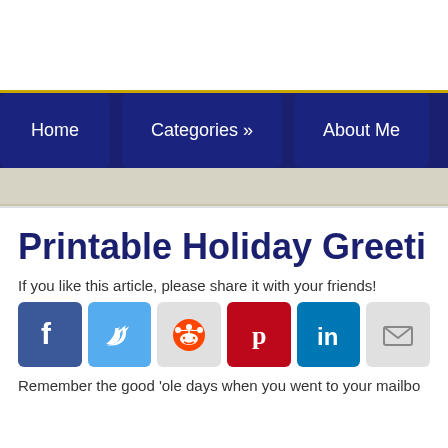Home  Categories »  About Me
Printable Holiday Greeti…
If you like this article, please share it with your friends!
[Figure (other): Social share buttons: Facebook, Twitter, Reddit, Pinterest, LinkedIn, Email]
Remember the good 'ole days when you went to your mailbo…